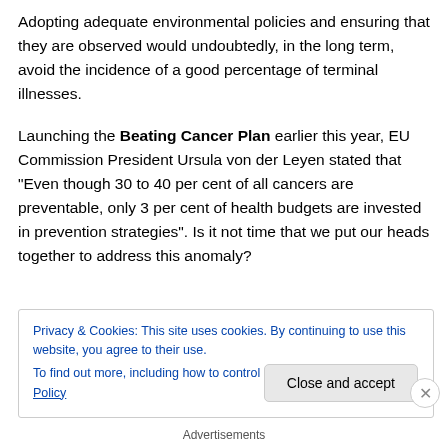Adopting adequate environmental policies and ensuring that they are observed would undoubtedly, in the long term, avoid the incidence of a good percentage of terminal illnesses.
Launching the Beating Cancer Plan earlier this year, EU Commission President Ursula von der Leyen stated that “Even though 30 to 40 per cent of all cancers are preventable, only 3 per cent of health budgets are invested in prevention strategies”. Is it not time that we put our heads together to address this anomaly?
Privacy & Cookies: This site uses cookies. By continuing to use this website, you agree to their use.
To find out more, including how to control cookies, see here: Cookie Policy
Close and accept
Advertisements